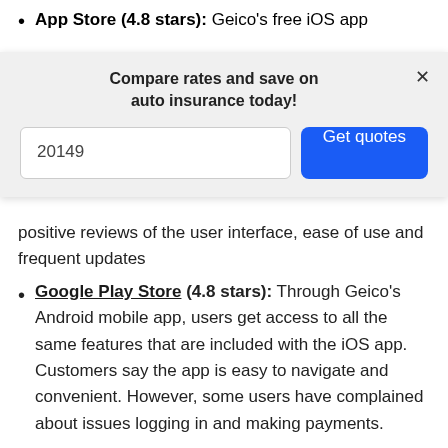App Store (4.8 stars): Geico's free iOS app
[Figure (screenshot): Modal popup overlay with text 'Compare rates and save on auto insurance today!', a zip code input field showing '20149', a blue 'Get quotes' button, and an X close button.]
positive reviews of the user interface, ease of use and frequent updates
Google Play Store (4.8 stars): Through Geico's Android mobile app, users get access to all the same features that are included with the iOS app. Customers say the app is easy to navigate and convenient. However, some users have complained about issues logging in and making payments.